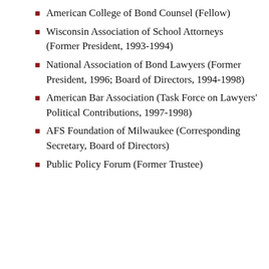American College of Bond Counsel (Fellow)
Wisconsin Association of School Attorneys (Former President, 1993-1994)
National Association of Bond Lawyers (Former President, 1996; Board of Directors, 1994-1998)
American Bar Association (Task Force on Lawyers' Political Contributions, 1997-1998)
AFS Foundation of Milwaukee (Corresponding Secretary, Board of Directors)
Public Policy Forum (Former Trustee)